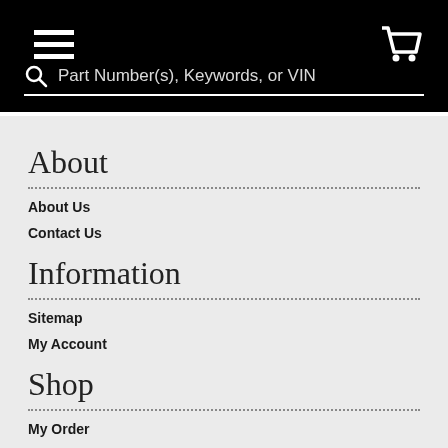Navigation menu header with hamburger menu, search bar (Part Number(s), Keywords, or VIN), and cart icon
About
About Us
Contact Us
Information
Sitemap
My Account
Shop
My Order